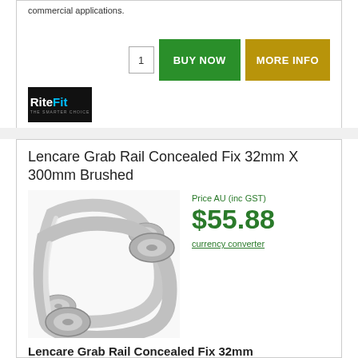commercial applications.
[Figure (logo): RiteFit logo - black background with white and blue text]
Lencare Grab Rail Concealed Fix 32mm X 300mm Brushed
[Figure (photo): Brushed stainless steel grab rail with concealed fix mounting plates]
Price AU (inc GST)
$55.88
currency converter
Lencare Grab Rail Concealed Fix 32mm
Brushed Stainless Steel Finish, 300mm in length